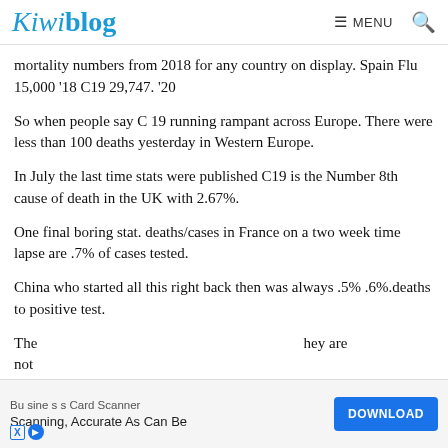Kiwiblog  ☰ MENU  🔍
mortality numbers from 2018 for any country on display. Spain Flu 15,000 '18 C19 29,747. '20
So when people say C 19 running rampant across Europe. There were less than 100 deaths yesterday in Western Europe.
In July the last time stats were published C19 is the Number 8th cause of death in the UK with 2.67%.
One final boring stat. deaths/cases in France on a two week time lapse are .7% of cases tested.
China who started all this right back then was always .5% .6%.deaths to positive test.
The [obscured by ad] hey are not [obscured by ad]